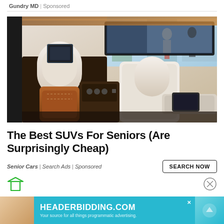Gundry MD | Sponsored
[Figure (photo): Luxury SUV interior showing cream and brown leather seats with headrest screens, a large rear entertainment screen, and premium dashboard controls]
The Best SUVs For Seniors (Are Surprisingly Cheap)
Senior Cars | Search Ads | Sponsored
[Figure (other): HEADERBIDDING.COM banner advertisement - Your source for all things programmatic advertising.]